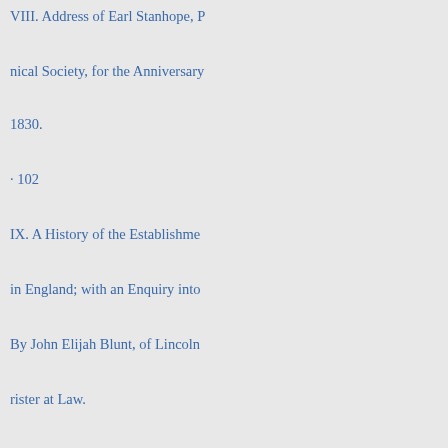VIII. Address of Earl Stanhope, [President of the Mechani-nical Society, for the Anniversary 1830.
· 102
IX. A History of the Establishment of the Court of Chancery in England; with an Enquiry into By John Elijah Blunt, of Lincoln's Inn, Bar-rister at Law.
106
X. Traits and Stories of the Irish Peasantry.
• 110
XI. 1. The Doom of Devorgoil, a Melo-Drama; or the Ayrshire Tragedy. By Sir W[alter Scott] 2. Twelve Dramatic Sketches, founded on the Poetry of Scotland. By W. M, He[nderson]
1
« Zurück